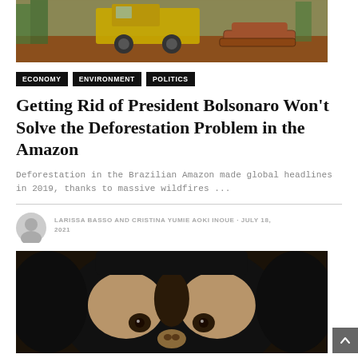[Figure (photo): Top portion of a construction/logging scene with heavy machinery and cut logs on red soil]
ECONOMY
ENVIRONMENT
POLITICS
Getting Rid of President Bolsonaro Won't Solve the Deforestation Problem in the Amazon
Deforestation in the Brazilian Amazon made global headlines in 2019, thanks to massive wildfires ...
LARISSA BASSO AND CRISTINA YUMIE AOKI INOUE · JULY 18, 2021
[Figure (photo): Close-up photo of a monkey (possibly a spider monkey) with dark fur and distinctive tan/beige facial markings around the eyes, looking directly at camera]